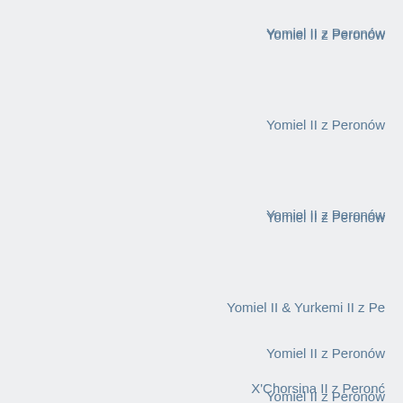Yomiel II z Peronów
Yomiel II z Peronów
Yomiel II z Peronów
Yomiel II & Yurkemi II z Pe
Yomiel II z Peronów
X'Chorsina II z Peronć